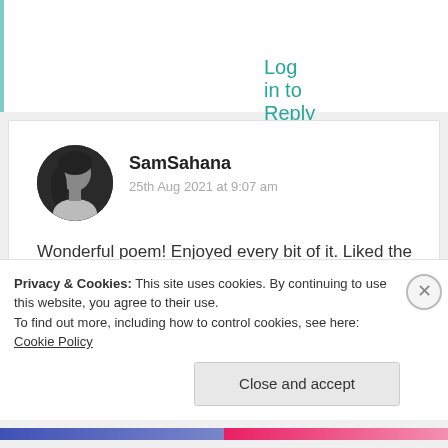Log in to Reply
[Figure (photo): Black and white circular avatar photo of a woman with long hair]
SamSahana
25th Aug 2021 at 9:07 am
Wonderful poem! Enjoyed every bit of it. Liked the finishing note, the analogy between life and a cell. 🙂 Great post! 👌❤
★ Liked by 2 people
Privacy & Cookies: This site uses cookies. By continuing to use this website, you agree to their use.
To find out more, including how to control cookies, see here: Cookie Policy
Close and accept